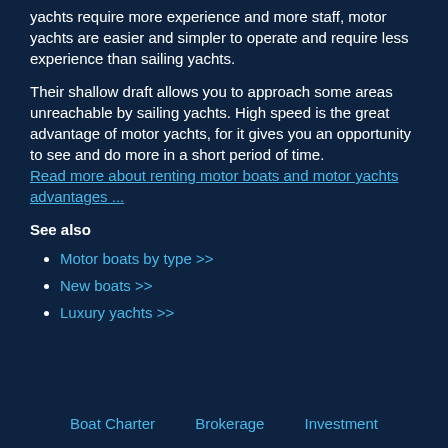yachts require more experience and more staff, motor yachts are easier and simpler to operate and require less experience than sailing yachts.
Their shallow draft allows you to approach some areas unreachable by sailing yachts. High speed is the great advantage of motor yachts, for it gives you an opportunity to see and do more in a short period of time. Read more about renting motor boats and motor yachts advantages ...
See also
Motor boats by type >>
New boats >>
Luxury yachts >>
Boat Charter   Brokerage   Investment